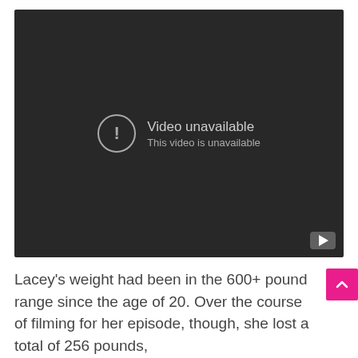[Figure (screenshot): Embedded video player showing a dark/black screen with a 'Video unavailable' message. A circular exclamation icon is on the left, with text 'Video unavailable' and 'This video is unavailable' on the right. A YouTube play button icon appears in the bottom right corner.]
Lacey's weight had been in the 600+ pound range since the age of 20. Over the course of filming for her episode, though, she lost a total of 256 pounds,